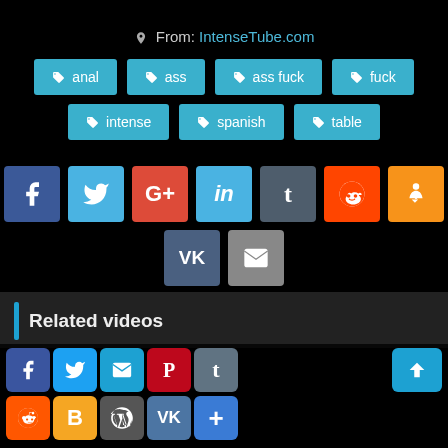From: IntenseTube.com
anal
ass
ass fuck
fuck
intense
spanish
table
[Figure (infographic): Social share buttons: Facebook, Twitter, Google+, LinkedIn, Tumblr, Reddit, Odnoklassniki (top row); VK, Email (bottom row)]
Related videos
[Figure (infographic): Floating social share bar with Facebook, Twitter, Email, Pinterest, Tumblr, Reddit, Blogger, WordPress, VK, Plus buttons and an up-arrow button]